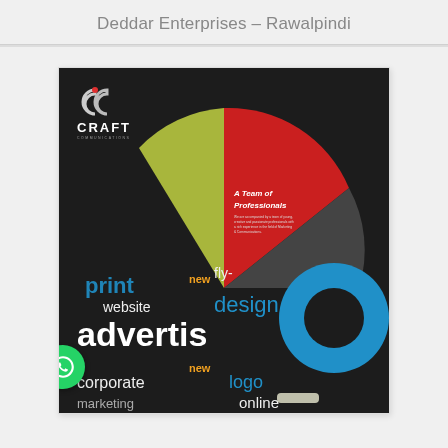Deddar Enterprises – Rawalpindi
[Figure (illustration): Craft Communications marketing agency promotional image featuring the Craft logo, colorful pie/fan chart segments (red, yellow-green, dark), text 'A Team of Professionals' with descriptive paragraph, and a word cloud on dark background with words: print, new, fly-, design, website, advertis, corporate, new, logo, marketing, online, with a blue donut circle graphic and a hand holding chalk. A green WhatsApp button is overlaid at bottom left.]